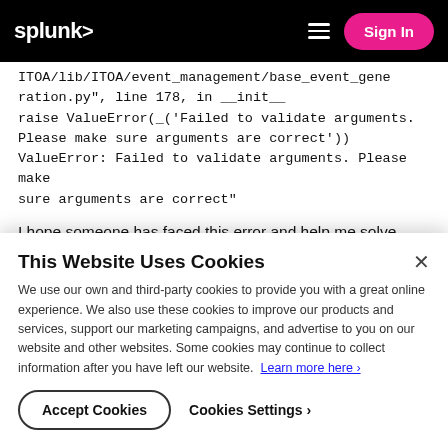splunk> Sign In
ITOA/lib/ITOA/event_management/base_event_generation.py", line 178, in __init__
raise ValueError(_('Failed to validate arguments. Please make sure arguments are correct'))
ValueError: Failed to validate arguments. Please make sure arguments are correct"
I hope someone has faced this error and help me solve
This Website Uses Cookies
We use our own and third-party cookies to provide you with a great online experience. We also use these cookies to improve our products and services, support our marketing campaigns, and advertise to you on our website and other websites. Some cookies may continue to collect information after you have left our website. Learn more here ›
Accept Cookies    Cookies Settings ›